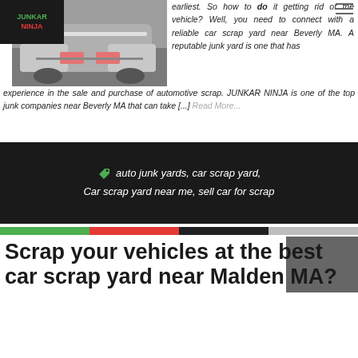[Figure (photo): Damaged car rear view, silver/white vehicle, outdoor setting]
earliest. So how to do it getting rid of the vehicle? Well, you need to connect with a reliable car scrap yard near Beverly MA. A reputable junk yard is one that has experience in the sale and purchase of automotive scrap. JUNKAR NINJA is one of the top junk companies near Beverly MA that can take [...] Read More...
auto junk yards, car scrap yard, Car scrap yard near me, sell car for scrap
Scrap your vehicles at the best car scrap yard near Malden MA?